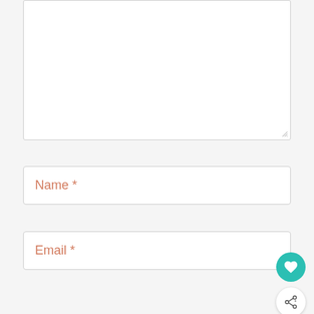[Figure (screenshot): A large empty textarea input box with a resize handle in the bottom-right corner]
Name *
Email *
[Figure (other): Teal circular FAB button with a heart icon]
[Figure (other): White circular FAB button with a share/add icon]